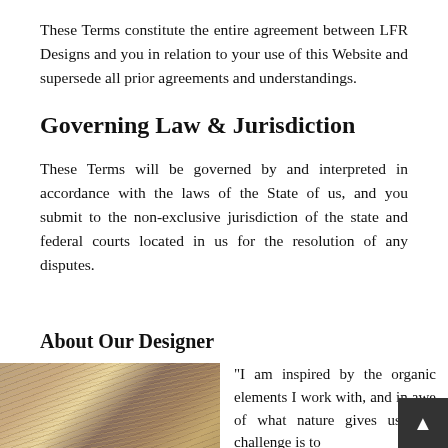These Terms constitute the entire agreement between LFR Designs and you in relation to your use of this Website and supersede all prior agreements and understandings.
Governing Law & Jurisdiction
These Terms will be governed by and interpreted in accordance with the laws of the State of us, and you submit to the non-exclusive jurisdiction of the state and federal courts located in us for the resolution of any disputes.
About Our Designer
[Figure (photo): Close-up photo of a woman with highlighted hair]
"I am inspired by the organic elements I work with, and in awe of what nature gives us. My challenge is to